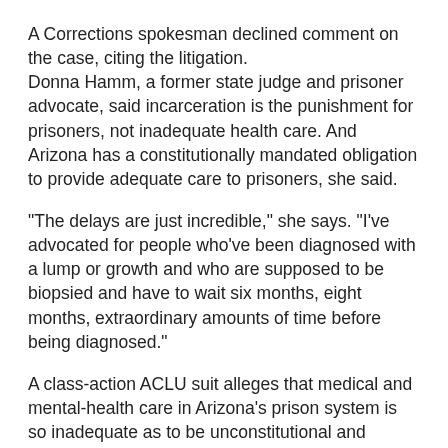A Corrections spokesman declined comment on the case, citing the litigation.
Donna Hamm, a former state judge and prisoner advocate, said incarceration is the punishment for prisoners, not inadequate health care. And Arizona has a constitutionally mandated obligation to provide adequate care to prisoners, she said.
"The delays are just incredible," she says. "I've advocated for people who've been diagnosed with a lump or growth and who are supposed to be biopsied and have to wait six months, eight months, extraordinary amounts of time before being diagnosed."
A class-action ACLU suit alleges that medical and mental-health care in Arizona's prison system is so inadequate as to be unconstitutional and demands improvements in access to and quality of care, and "timely and competent" emergency response.
By the end of June, Wexford Health Sources Inc. of